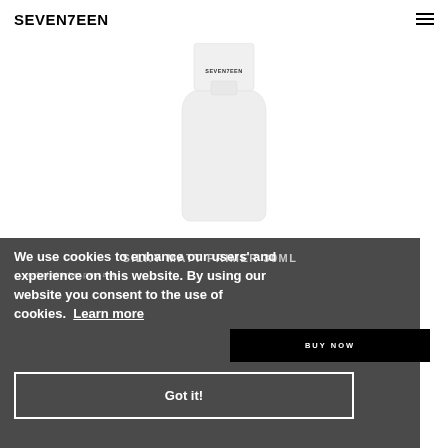SEVEN7EEN
[Figure (photo): White cylindrical product bottle labeled SEVEN7EEN - Silky Matt Primer 30ml on white background]
SILKY MATT PRIMER 30ML
We use cookies to enhance our users' experience on this website. By using our website you consent to the use of cookies. Learn more
BUY NOW
Got it!